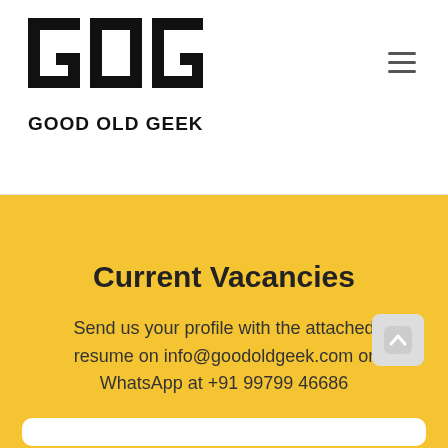[Figure (logo): GOG Good Old Geek logo — bold block letters GOG with GOOD OLD GEEK beneath in bold caps]
Current Vacancies
Send us your profile with the attached resume on info@goodoldgeek.com or WhatsApp at +91 99799 46686